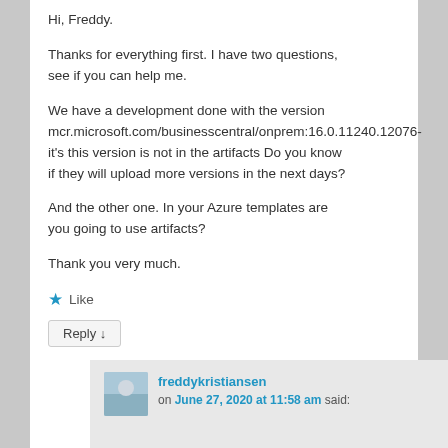Hi, Freddy.
Thanks for everything first. I have two questions, see if you can help me.
We have a development done with the version mcr.microsoft.com/businesscentral/onprem:16.0.11240.12076- it's this version is not in the artifacts Do you know if they will upload more versions in the next days?
And the other one. In your Azure templates are you going to use artifacts?
Thank you very much.
★ Like
Reply ↓
freddykristiansen
on June 27, 2020 at 11:58 am said: